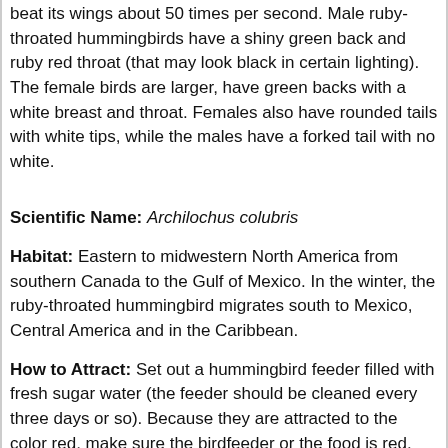beat its wings about 50 times per second. Male ruby-throated hummingbirds have a shiny green back and ruby red throat (that may look black in certain lighting). The female birds are larger, have green backs with a white breast and throat. Females also have rounded tails with white tips, while the males have a forked tail with no white.
Scientific Name: Archilochus colubris
Habitat: Eastern to midwestern North America from southern Canada to the Gulf of Mexico. In the winter, the ruby-throated hummingbird migrates south to Mexico, Central America and in the Caribbean.
How to Attract: Set out a hummingbird feeder filled with fresh sugar water (the feeder should be cleaned every three days or so). Because they are attracted to the color red, make sure the birdfeeder or the food is red. Ruby-throated hummingbirds will also feed from red-blooming tubular flowers (long and thin flowers that the bird can put its long beak into). They also eat small insects for